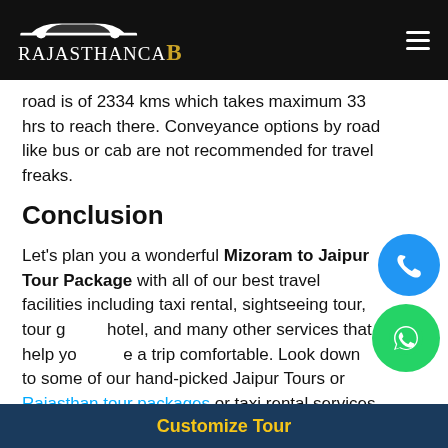RajasthanCaB
road is of 2334 kms which takes maximum 33 hrs to reach there. Conveyance options by road like bus or cab are not recommended for travel freaks.
Conclusion
Let’s plan you a wonderful Mizoram to Jaipur Tour Package with all of our best travel facilities including taxi rental, sightseeing tour, tour guide, hotel, and many other services that help you make a trip comfortable. Look down to some of our hand-picked Jaipur Tours or Rajasthan tour packages or taxi rental services we offer you for a
Customize Tour